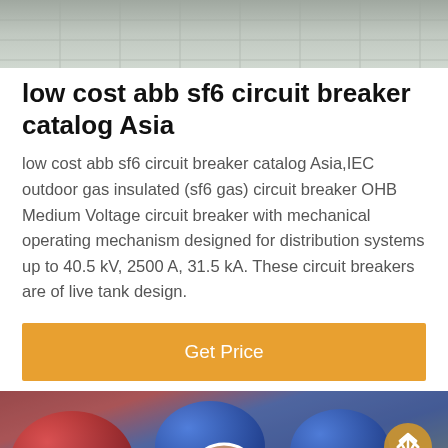[Figure (photo): Top photo showing tiled/grid surface, partially visible, gray tones]
low cost abb sf6 circuit breaker catalog Asia
low cost abb sf6 circuit breaker catalog Asia,IEC outdoor gas insulated (sf6 gas) circuit breaker OHB Medium Voltage circuit breaker with mechanical operating mechanism designed for distribution systems up to 40.5 kV, 2500 A, 31.5 kA. These circuit breakers are of live tank design.
Get Price
[Figure (photo): Workers wearing hard hats (red and blue helmets), industrial site background with equipment]
Leave Message
Chat Online